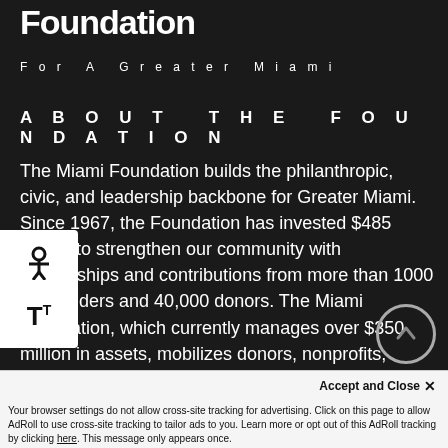Miami Foundation
For A Greater Miami
ABOUT THE FOUNDATION
The Miami Foundation builds the philanthropic, civic, and leadership backbone for Greater Miami. Since 1967, the Foundation has invested $485 million to strengthen our community with partnerships and contributions from more than 1000 fundholders and 40,000 donors. The Miami Foundation, which currently manages over $350 million in assets, mobilizes donors, nonprofits, leaders, and locals to set a bold vision for our community's future and to invest in a stronger, more equitable, more resilient Greater Miami
Accept and Close ✕
Your browser settings do not allow cross-site tracking for advertising. Click on this page to allow AdRoll to use cross-site tracking to tailor ads to you. Learn more or opt out of this AdRoll tracking by clicking here. This message only appears once.